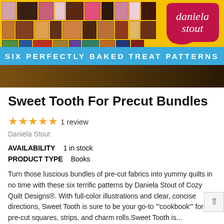[Figure (photo): Book cover banner for 'Sweet Tooth For Precut Bundles' by Daniela Stout. Shows quilt fabric swatches in pink, brown, and multicolor patterns on a yellow background. Blue banner reads 'SIX PERFECTLY BAKED TREAT PATTERNS'. Daniela Stout logo badge visible top right.]
Sweet Tooth For Precut Bundles
★★★★★ 1 review
Daniela Stout
AVAILABILITY   1 in stock
PRODUCT TYPE   Books
Turn those luscious bundles of pre-cut fabrics into yummy quilts in no time with these six terrific patterns by Daniela Stout of Cozy Quilt Designs®. With full-color illustrations and clear, concise directions, Sweet Tooth is sure to be your go-to '"cookbook"' for pre-cut squares, strips, and charm rolls.Sweet Tooth is...